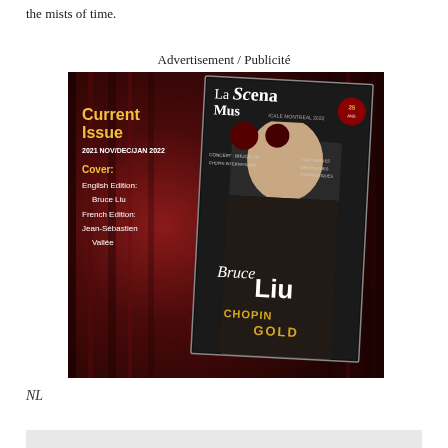the mists of time.
Advertisement / Publicité
[Figure (illustration): La Scena Musicale magazine advertisement showing the current issue (2021 NOV/DEC/JAN 2022) against a dark red curtain background. Text reads: Current Issue, 2021 NOV/DEC/JAN 2022, Cover: English Edition: Bruce Liu, French Edition: Jean-Sébastien Vallée. The magazine cover shows Bruce Liu with text 'Bruce Liu CHOPIN GOLD' and 'La Scena Mus...' masthead.]
NL